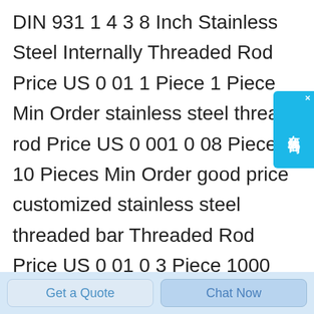DIN 931 1 4 3 8 Inch Stainless Steel Internally Threaded Rod Price US 0 01 1 Piece 1 Piece Min Order stainless steel thread rod Price US 0 001 0 08 Piece 10 Pieces Min Order good price customized stainless steel threaded bar Threaded Rod Price US 0 01 0 3 Piece 1000 Pieces Min Order Hardened Super Corrosion Resistant 316Stainless Steel Threaded Rods Grade B8M These hardened 316 stainless steel threaded rods are 40 stronger than standard Grade B8M threaded rods They meet the pressure and temperature requirements
[Figure (other): Blue chat widget button with Chinese characters 在线咨询 (online consultation) and close button]
Get a Quote
Chat Now